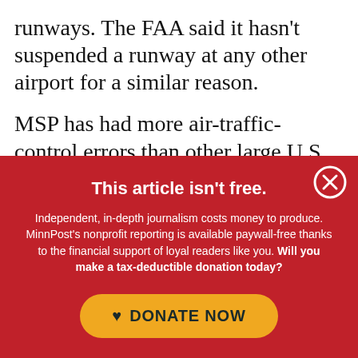runways. The FAA said it hasn't suspended a runway at any other airport for a similar reason.
MSP has had more air-traffic-control errors than other large U.S. airports in recent years, and some aviation experts have speculated that
This article isn't free.
Independent, in-depth journalism costs money to produce. MinnPost's nonprofit reporting is available paywall-free thanks to the financial support of loyal readers like you. Will you make a tax-deductible donation today?
DONATE NOW